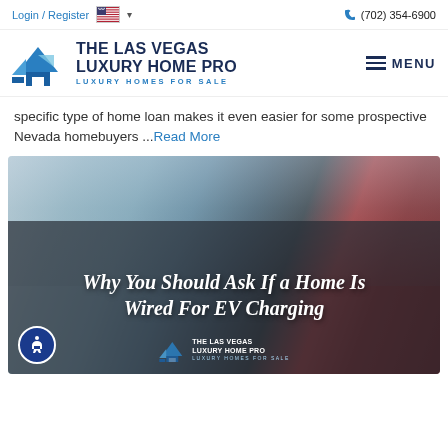Login / Register  (702) 354-6900
[Figure (logo): The Las Vegas Luxury Home Pro logo with blue house/arrow icon and dark navy text. LUXURY HOMES FOR SALE subtitle in blue.]
specific type of home loan makes it even easier for some prospective Nevada homebuyers ...Read More
[Figure (photo): Article card image showing a person plugging in an EV charger into a red car, with overlay text reading 'Why You Should Ask If a Home Is Wired For EV Charging' in white italic script font. The Las Vegas Luxury Home Pro logo watermark appears at the bottom of the image.]